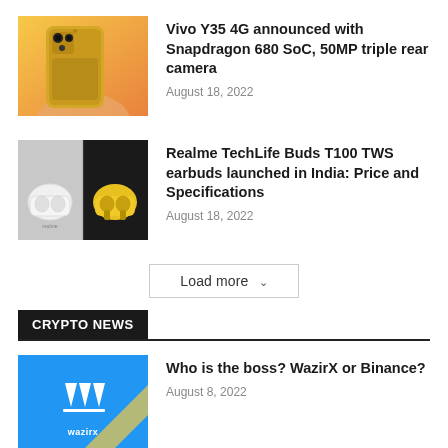[Figure (photo): Vivo Y35 4G smartphone in gold color held in hand, product photo]
Vivo Y35 4G announced with Snapdragon 680 SoC, 50MP triple rear camera
August 18, 2022
[Figure (photo): Realme TechLife Buds T100 TWS earbuds product photo, white earbuds case on grey background and yellow earbuds case on black background]
Realme TechLife Buds T100 TWS earbuds launched in India: Price and Specifications
August 18, 2022
Load more
CRYPTO NEWS
[Figure (photo): WazirX logo on blue background with gold diagonal stripe]
Who is the boss? WazirX or Binance?
August 8, 2022